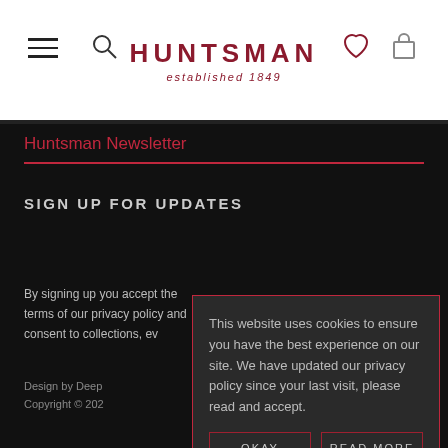[Figure (screenshot): Huntsman website navigation bar with hamburger menu, search icon, HUNTSMAN established 1849 logo in dark red, heart icon and shopping bag icon]
Huntsman Newsletter
SIGN UP FOR UPDATES
By signing up you accept the terms of our privacy policy and consent to collections, ev...
Design by Deep
Copyright © 202
This website uses cookies to ensure you have the best experience on our site. We have updated our privacy policy since your last visit, please read and accept.